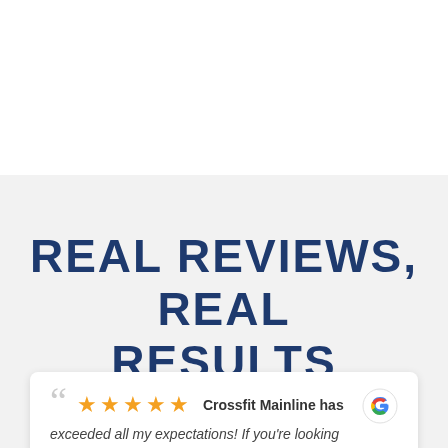REAL REVIEWS, REAL RESULTS
Crossfit Mainline has exceeded all my expectations! If you're looking